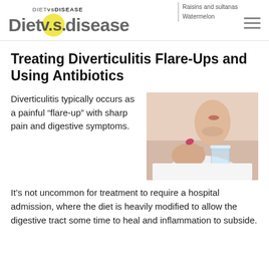Diet vs. Disease — DIET vs DISEASE
Raisins and sultanas
Watermelon
Treating Diverticulitis Flare-Ups and Using Antibiotics
Diverticulitis typically occurs as a painful “flare-up” with sharp pain and digestive symptoms.
[Figure (photo): A woman taking a pill and holding a glass of water]
It’s not uncommon for treatment to require a hospital admission, where the diet is heavily modified to allow the digestive tract some time to heal and inflammation to subside.